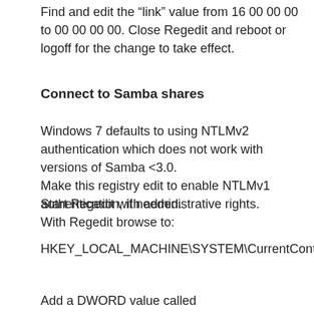Find and edit the “link” value from 16 00 00 00 to 00 00 00 00. Close Regedit and reboot or logoff for the change to take effect.
Connect to Samba shares
Windows 7 defaults to using NTLMv2 authentication which does not work with versions of Samba <3.0.
Make this registry edit to enable NTLMv1 authentication, if needed.
Start Regedit with administrative rights.
With Regedit browse to:
HKEY_LOCAL_MACHINE\SYSTEM\CurrentControlSet\Control\Lsa
Add a DWORD value called LmCompatibilityLevel if it isn’t